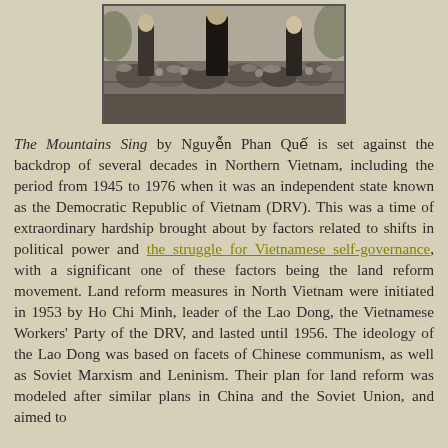[Figure (photo): Black and white historical photograph showing people standing in an outdoor setting with a crowd gathered behind them, likely from mid-20th century Vietnam.]
The Mountains Sing by Nguyễn Phan Quế is set against the backdrop of several decades in Northern Vietnam, including the period from 1945 to 1976 when it was an independent state known as the Democratic Republic of Vietnam (DRV). This was a time of extraordinary hardship brought about by factors related to shifts in political power and the struggle for Vietnamese self-governance, with a significant one of these factors being the land reform movement. Land reform measures in North Vietnam were initiated in 1953 by Ho Chi Minh, leader of the Lao Dong, the Vietnamese Workers' Party of the DRV, and lasted until 1956. The ideology of the Lao Dong was based on facets of Chinese communism, as well as Soviet Marxism and Leninism. Their plan for land reform was modeled after similar plans in China and the Soviet Union, and aimed to